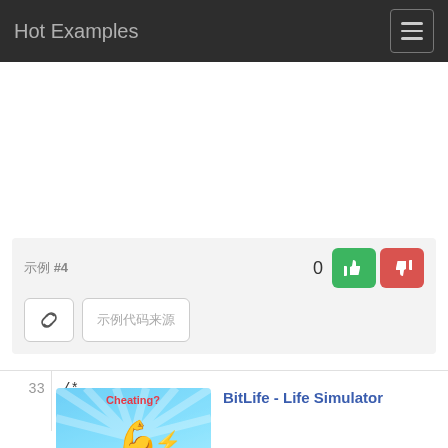Hot Examples
[Figure (screenshot): Advertisement area (blank/white space)]
示例#4
0
[Figure (illustration): Thumbs up green button and thumbs down red button]
[Figure (illustration): Link icon button and text button with Japanese/Chinese characters]
33
/*
[Figure (photo): BitLife - Life Simulator ad image with flexing arm and lightning bolt, text: Cheating? Or creative winning? BITLIFE Now with pro sports]
BitLife - Life Simulator
Ad